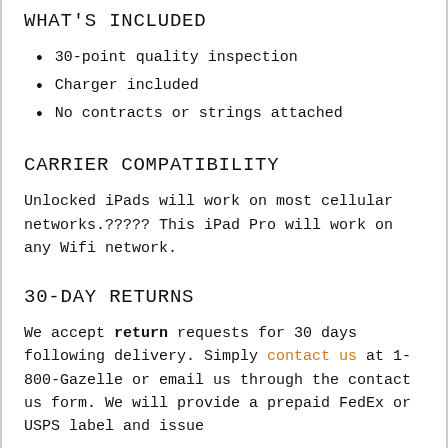WHAT'S INCLUDED
30-point quality inspection
Charger included
No contracts or strings attached
CARRIER COMPATIBILITY
Unlocked iPads will work on most cellular networks.????? This iPad Pro will work on any Wifi network.
30-DAY RETURNS
We accept return requests for 30 days following delivery. Simply contact us at 1-800-Gazelle or email us through the contact us form. We will provide a prepaid FedEx or USPS label and issue